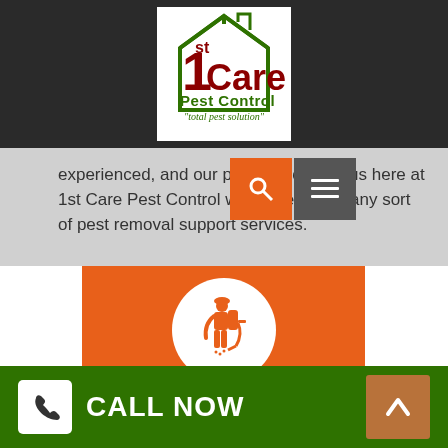[Figure (logo): 1st Care Pest Control logo — a house outline in green with a red '1' and dark red 'Care' text, below that 'Pest Control' in green and 'total pest solution' in italic green, on a white square background]
experienced, and our patrons come to us here at 1st Care Pest Control when they need any sort of pest removal support services.
[Figure (illustration): Orange card with a white circle containing an orange icon of a pest control worker with a backpack sprayer, walking. Below the circle is bold white text reading 'FAST PEST REMOVAL']
CALL NOW  [up arrow button]